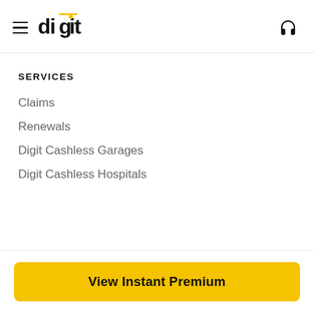digit
SERVICES
Claims
Renewals
Digit Cashless Garages
Digit Cashless Hospitals
View Instant Premium